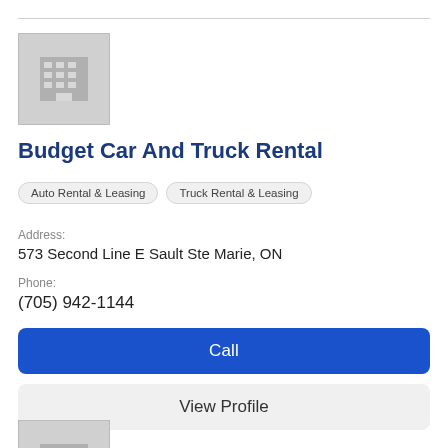[Figure (logo): Grey building placeholder icon]
Budget Car And Truck Rental
Auto Rental & Leasing
Truck Rental & Leasing
Address:
573 Second Line E Sault Ste Marie, ON
Phone:
(705) 942-1144
Call
View Profile
[Figure (logo): Grey building placeholder icon (second listing)]